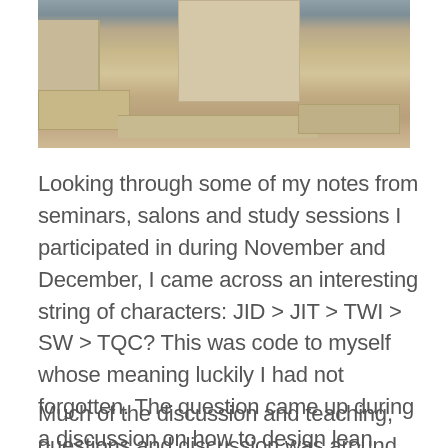[Figure (photo): Photo of ancient stone ruins or archaeological site with limestone blocks and walls in a desert/arid landscape]
Looking through some of my notes from seminars, salons and study sessions I participated in during November and December, I came across an interesting string of characters: JID > JIT > TWI > SW > TQC? This was code to myself whose meaning luckily I had not forgotten. The question came up during a discussion on how to design lean operating systems and how to implement lean system.
Much of the discussion and teaching, questions and discussion was around the importance of